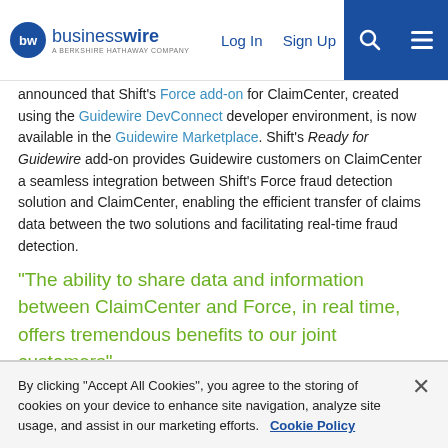businesswire — A BERKSHIRE HATHAWAY COMPANY | Log In | Sign Up
announced that Shift's Force add-on for ClaimCenter, created using the Guidewire DevConnect developer environment, is now available in the Guidewire Marketplace. Shift's Ready for Guidewire add-on provides Guidewire customers on ClaimCenter a seamless integration between Shift's Force fraud detection solution and ClaimCenter, enabling the efficient transfer of claims data between the two solutions and facilitating real-time fraud detection.
“The ability to share data and information between ClaimCenter and Force, in real time, offers tremendous benefits to our joint customers”
Tweet this
By clicking “Accept All Cookies”, you agree to the storing of cookies on your device to enhance site navigation, analyze site usage, and assist in our marketing efforts.   Cookie Policy